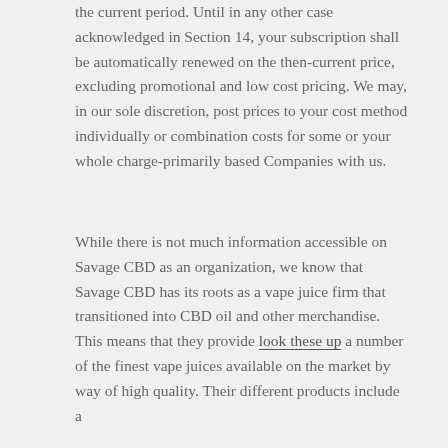the current period. Until in any other case acknowledged in Section 14, your subscription shall be automatically renewed on the then-current price, excluding promotional and low cost pricing. We may, in our sole discretion, post prices to your cost method individually or combination costs for some or your whole charge-primarily based Companies with us.
While there is not much information accessible on Savage CBD as an organization, we know that Savage CBD has its roots as a vape juice firm that transitioned into CBD oil and other merchandise. This means that they provide look these up a number of the finest vape juices available on the market by way of high quality. Their different products include a